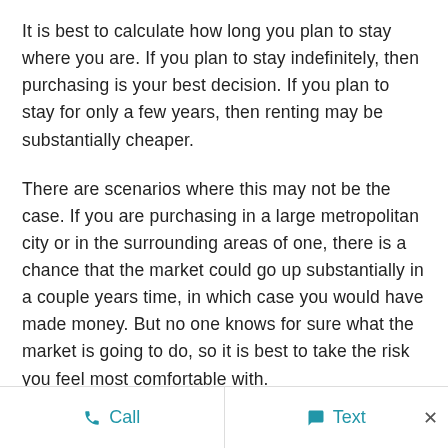It is best to calculate how long you plan to stay where you are. If you plan to stay indefinitely, then purchasing is your best decision. If you plan to stay for only a few years, then renting may be substantially cheaper.
There are scenarios where this may not be the case. If you are purchasing in a large metropolitan city or in the surrounding areas of one, there is a chance that the market could go up substantially in a couple years time, in which case you would have made money. But no one knows for sure what the market is going to do, so it is best to take the risk you feel most comfortable with.
Call   Text